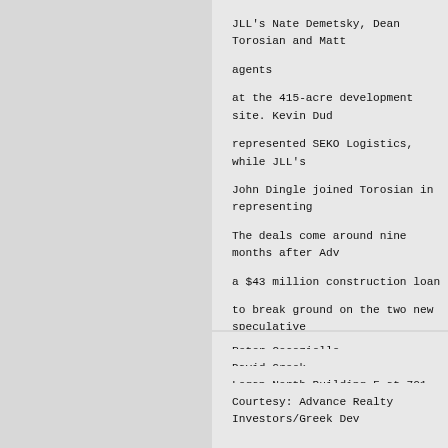JLL's Nate Demetsky, Dean Torosian and Matt agents at the 415-acre development site. Kevin Dud represented SEKO Logistics, while JLL's John Dingle joined Torosian in representing The deals come around nine months after Adv a $43 million construction loan to break ground on the two new speculative around 1.6 million square feet as part of th square- foot facility and 17-acre drop-lot that they leased to Target Corp. and subseq million.
Peter Cocoziello
David Greek
Logan North Building F at 701 Crossroads Bl
Courtesy: Advance Realty Investors/Greek Dev